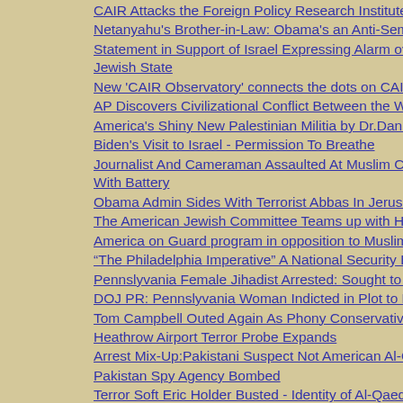CAIR Attacks the Foreign Policy Research Institute by Dr. Daniel Pipes
Netanyahu's Brother-in-Law: Obama's an Anti-Semite
Statement in Support of Israel Expressing Alarm over President Obama and Jewish State
New 'CAIR Observatory' connects the dots on CAIR's foreign funding and lob
AP Discovers Civilizational Conflict Between the West and Islam
America's Shiny New Palestinian Militia by Dr.Daniel Pipes
Biden's Visit to Israel - Permission To Breathe
Journalist And Cameraman Assaulted At Muslim Capitol Day -Assailant Bass With Battery
Obama Admin Sides With Terrorist Abbas In Jerusalem Building Row
The American Jewish Committee Teams up with Hispanic Supremacist Grou
America on Guard program in opposition to Muslim Day at the Florida State
"The Philadelphia Imperative" A National Security Briefing Thursday April 1, 2
Pennslyvania Female Jihadist Arrested: Sought to Mount Attacks Which Wou
DOJ PR: Pennslyvania Woman Indicted in Plot to Recruit Violent Jihadist Fic
Tom Campbell Outed Again As Phony Conservative
Heathrow Airport Terror Probe Expands
Arrest Mix-Up:Pakistani Suspect Not American Al-Qaeda Spokesman Adam
Pakistan Spy Agency Bombed
Terror Soft Eric Holder Busted - Identity of Al-Qaeda 7 Revealed by Fox New
DOJ PR: Mesa Man Sentenced to Prison for Lying to the FBI During a Terro
German Muslims jailed who plotted 'second September 11'
Imam pleads guilty to tipping NYC subway bomb plotter
Anti - Hate Group To Rally Against CAIR on March 6 in Fort Lauderdale
Bowing to Radical Islam - Article and Video
Can Tahir ul-Qadri Help Reform Islam?